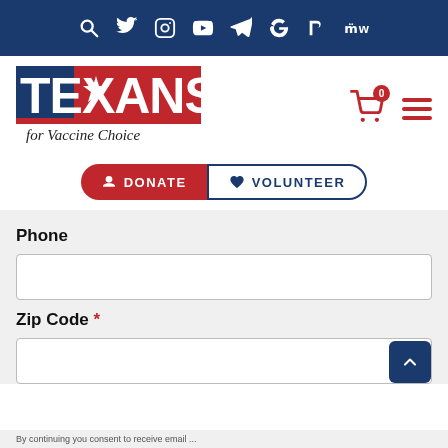Texans for Vaccine Choice - navigation bar with social icons
[Figure (logo): Texans for Vaccine Choice logo with red, white, blue text and star]
DONATE  VOLUNTEER
Phone
[phone input field]
Zip Code *
[zip code input field]